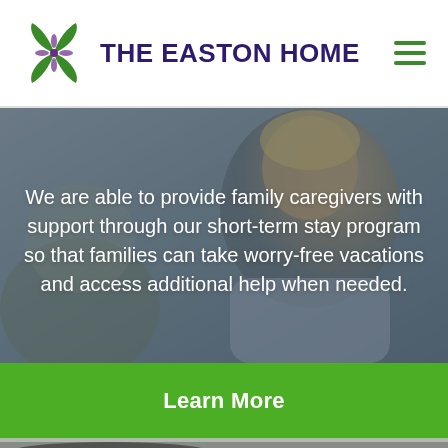THE EASTON HOME
[Figure (photo): Background photo of a smiling woman with blonde hair wearing a light blue shirt, with a slightly blurred second person visible in the foreground.]
We are able to provide family caregivers with support through our short-term stay program so that families can take worry-free vacations and access additional help when needed.
Learn More
[Figure (photo): Bottom portion of a person's head with dark hair, partially visible at the bottom of the page.]